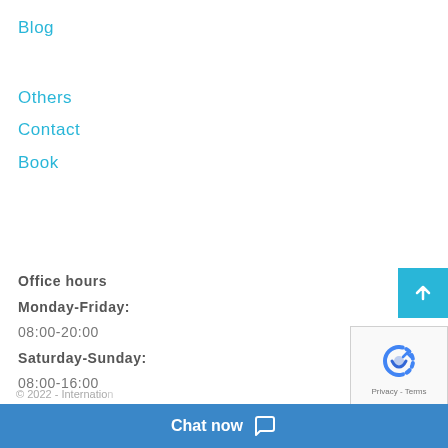Blog
Others
Contact
Book
Office hours Monday-Friday: 08:00-20:00 Saturday-Sunday: 08:00-16:00
© 2022 - Internatio...
Chat now